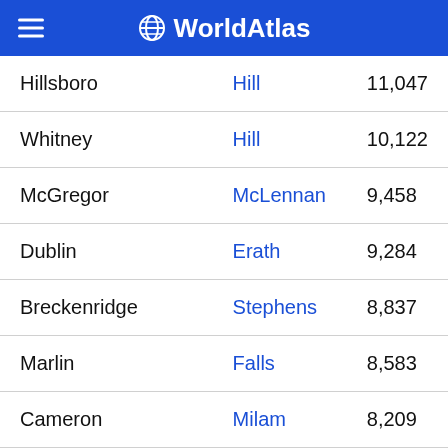WorldAtlas
| City | County | Population |
| --- | --- | --- |
| Hillsboro | Hill | 11,047 |
| Whitney | Hill | 10,122 |
| McGregor | McLennan | 9,458 |
| Dublin | Erath | 9,284 |
| Breckenridge | Stephens | 8,837 |
| Marlin | Falls | 8,583 |
| Cameron | Milam | 8,209 |
This website uses cookies to better your experience.